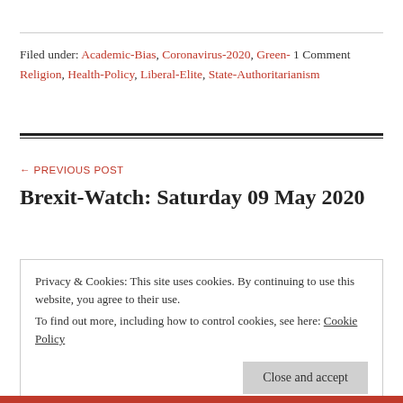Filed under: Academic-Bias, Coronavirus-2020, Green- 1 Comment Religion, Health-Policy, Liberal-Elite, State-Authoritarianism
← PREVIOUS POST
Brexit-Watch: Saturday 09 May 2020
Privacy & Cookies: This site uses cookies. By continuing to use this website, you agree to their use. To find out more, including how to control cookies, see here: Cookie Policy